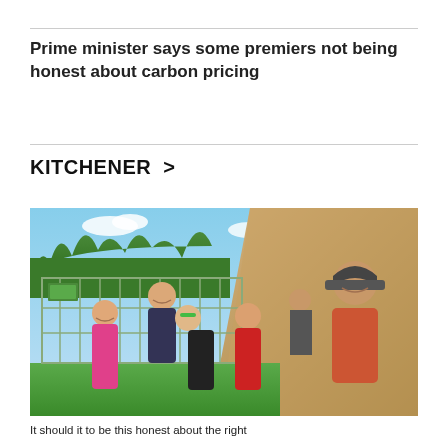Prime minister says some premiers not being honest about carbon pricing
KITCHENER >
[Figure (photo): A family of six — a woman and a man with four children — pose together outdoors near a metal fence, with a gravel pile and trees in the background. The children are wearing colourful shirts including pink and red Star Wars tops. The man wears an orange shirt and a baseball cap.]
It should it to be this honest about the right